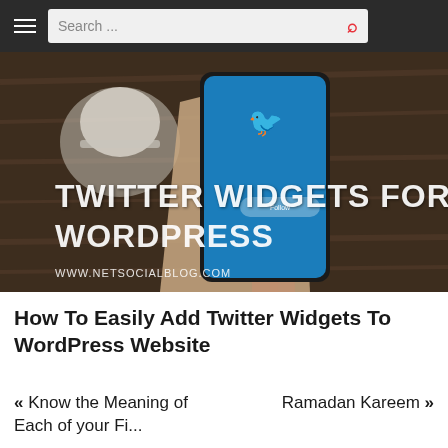Search ...
[Figure (photo): A hand holding a smartphone displaying the Twitter app interface with the Twitter bird logo visible. On the image overlay text reads 'TWITTER WIDGETS FOR WORDPRESS' and 'WWW.NETSOCIALBLOG.COM'. A coffee cup is visible in the background on a wooden table.]
How To Easily Add Twitter Widgets To WordPress Website
« Know the Meaning of Each of your Fi...
Ramadan Kareem »